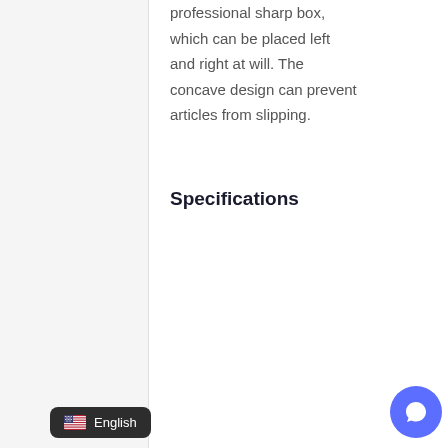professional sharp box, which can be placed left and right at will. The concave design can prevent articles from slipping.
Specifications
|  |  |
| --- | --- |
| Concave size |  |
| Table |  |
| Left side of the car body |  |